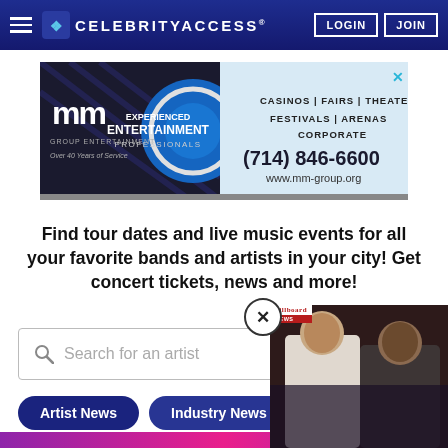CELEBRITYACCESS® | LOGIN | JOIN
[Figure (illustration): MM Group Entertainment advertisement banner. Features: mm logo with 'GROUP ENTERTAINMENT / Over 40 Years of Service', a blue circle with 'EXPERIENCED ENTERTAINMENT PROFESSIONALS', and text listing CASINOS | FAIRS | THEATERS, FESTIVALS | ARENAS, CORPORATE, phone (714) 846-6600, www.mm-group.org. X close button top right.]
Find tour dates and live music events for all your favorite bands and artists in your city! Get concert tickets, news and more!
[Figure (screenshot): Search bar with magnifying glass icon and placeholder text 'Search for an artist']
[Figure (photo): Billboard News popup video showing two men posing together at what appears to be a party or event. The left man is wearing a white outfit and the right man is wearing a dark shirt.]
Artist News
Industry News